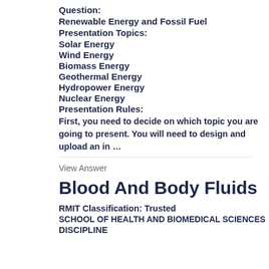Question:
Renewable Energy and Fossil Fuel
Presentation Topics:
Solar Energy
Wind Energy
Biomass Energy
Geothermal Energy
Hydropower Energy
Nuclear Energy
Presentation Rules:
First, you need to decide on which topic you are going to present. You will need to design and upload an in …
View Answer
Blood And Body Fluids
RMIT Classification: Trusted
SCHOOL OF HEALTH AND BIOMEDICAL SCIENCES
DISCIPLINE